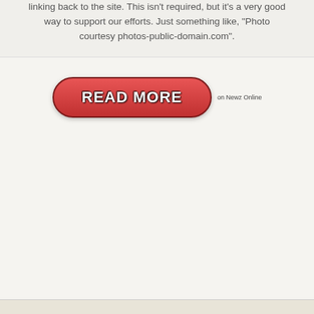linking back to the site. This isn't required, but it's a very good way to support our efforts. Just something like, "Photo courtesy photos-public-domain.com".
[Figure (other): A red pill-shaped READ MORE button with white bold text, followed by small text 'on Newz Online' to the right]